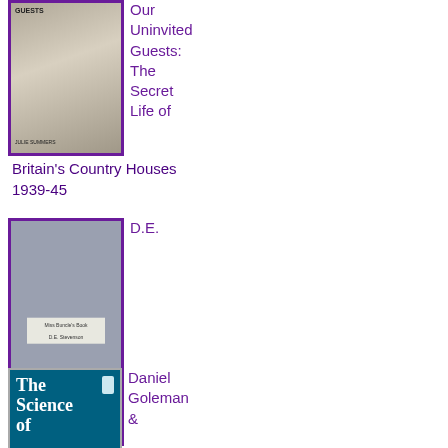[Figure (illustration): Book cover for 'Our Uninvited Guests: The Secret Life of Britain's Country Houses 1939-45', grayscale photo of a country house, purple border]
Our Uninvited Guests: The Secret Life of Britain's Country Houses 1939-45
[Figure (illustration): Book cover for 'D.E. Stevenson: Miss Buncle's Book', plain gray cover with a small label and publisher logo, purple border]
D.E. Stevenson: Miss Buncle's Book
[Figure (illustration): Book cover for 'The Science of Meditation' by Daniel Goleman & Richard J. Davidson, teal/blue cover with white title text]
Daniel Goleman & Richard